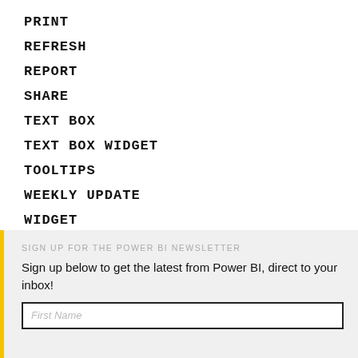PRINT
REFRESH
REPORT
SHARE
TEXT BOX
TEXT BOX WIDGET
TOOLTIPS
WEEKLY UPDATE
WIDGET
SIGN UP FOR THE POWER BI NEWSLETTER
Sign up below to get the latest from Power BI, direct to your inbox!
First Name